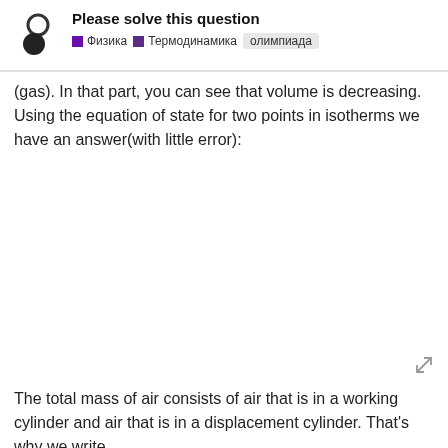Please solve this question | Физика | Термодинамика | олимпиада
(gas). In that part, you can see that volume is decreasing. Using the equation of state for two points in isotherms we have an answer(with little error):
The total mass of air consists of air that is in a working cylinder and air that is in a displacement cylinder. That's why we write